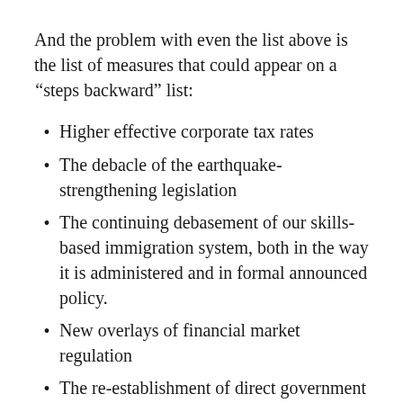And the problem with even the list above is the list of measures that could appear on a “steps backward” list:
Higher effective corporate tax rates
The debacle of the earthquake-strengthening legislation
The continuing debasement of our skills-based immigration system, both in the way it is administered and in formal announced policy.
New overlays of financial market regulation
The re-establishment of direct government controls over who banks can and cannot lend to